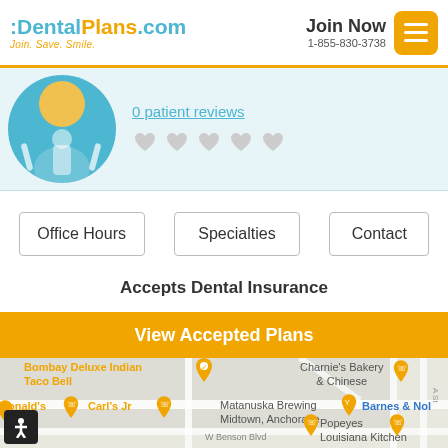[Figure (logo): DentalPlans.com logo with tagline 'Join. Save. Smile.' in teal and orange]
Join Now
1-855-830-3738
[Figure (illustration): Dental clinic avatar icon with teal circle background, orange sun, and dental equipment silhouette]
0 patient reviews
[Figure (infographic): Five grey heart-shaped rating stars]
Office Hours
Specialties
Contact
Accepts Dental Insurance
View Accepted Plans
[Figure (map): Street map of Midtown Anchorage area showing locations of restaurants and businesses including Bombay Deluxe Indian, Taco Bell, McDonald's, Carl's Jr, Matanuska Brewing Midtown Anchorage, Charnie's Bakery & Chinese, Barnes & Noble, Popeyes Louisiana Kitchen, W Benson Blvd label]